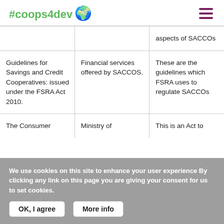#coops4dev 🌍
| aspects of SACCOs |  |  |
| Guidelines for Savings and Credit Cooperatives: issued under the FSRA Act 2010. | Financial services offered by SACCOS. | These are the guidelines which FSRA uses to regulate SACCOs |
| The Consumer | Ministry of | This is an Act to |
We use cookies on this site to enhance your user experience By clicking any link on this page you are giving your consent for us to set cookies.